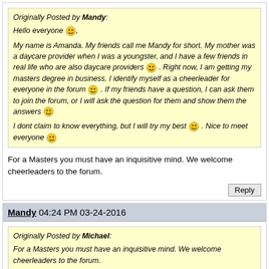Originally Posted by Mandy:
Hello everyone :), 
My name is Amanda. My friends call me Mandy for short. My mother was a daycare provider when I was a youngster, and I have a few friends in real life who are also daycare providers :) . Right now, I am getting my masters degree in business. I identify myself as a cheerleader for everyone in the forum :) . If my friends have a question, I can ask them to join the forum, or I will ask the question for them and show them the answers :)

I dont claim to know everything, but I will try my best :) . Nice to meet everyone :)
For a Masters you must have an inquisitive mind. We welcome cheerleaders to the forum.
Reply
Mandy 04:24 PM 03-24-2016
Originally Posted by Michael:
For a Masters you must have an inquisitive mind. We welcome cheerleaders to the forum.
Thank you so much Michael :) . I had a new class begin this week and I love it so far :) .
Reply
Tags:new member